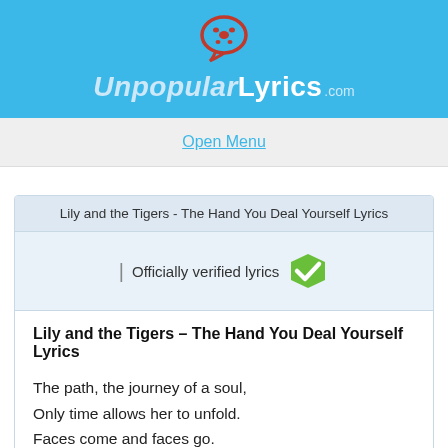UnpopularLyrics.com
Open Menu
Lily and the Tigers - The Hand You Deal Yourself Lyrics
| Officially verified lyrics
Lily and the Tigers – The Hand You Deal Yourself Lyrics
The path, the journey of a soul,
Only time allows her to unfold.
Faces come and faces go.
And what they give or take from you is the unknown.

But this is the hand you deal yourself,